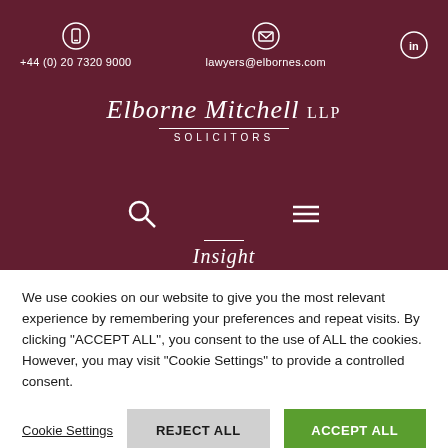[Figure (screenshot): Elborne Mitchell LLP solicitors website header with dark red/maroon background overlay on a street photo, showing phone number +44 (0) 20 7320 9000, email lawyers@elbornes.com, LinkedIn icon, search icon, hamburger menu, and law firm logo with 'SOLICITORS' tagline]
We use cookies on our website to give you the most relevant experience by remembering your preferences and repeat visits. By clicking "ACCEPT ALL", you consent to the use of ALL the cookies. However, you may visit "Cookie Settings" to provide a controlled consent.
Cookie Settings
REJECT ALL
ACCEPT ALL